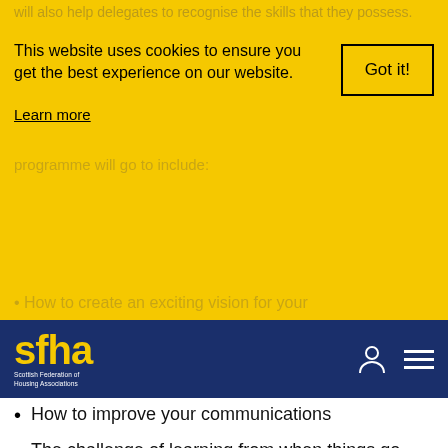[Figure (screenshot): Cookie consent banner with yellow background, text 'This website uses cookies to ensure you get the best experience on our website.', a 'Got it!' button, and a 'Learn more' link. Behind it, faded text partially visible.]
[Figure (logo): SFHA (Scottish Federation of Housing Associations) navigation bar with yellow sfha logo on dark navy background, person icon and hamburger menu on the right.]
How to improve your communications
The challenge of learning from when things go wrong
Building your confidence
You will leave inspired by new ideas and feeling more knowledgeable, confident and better prepared for the important challenges ahead.
The conference will be held at the Westerwood